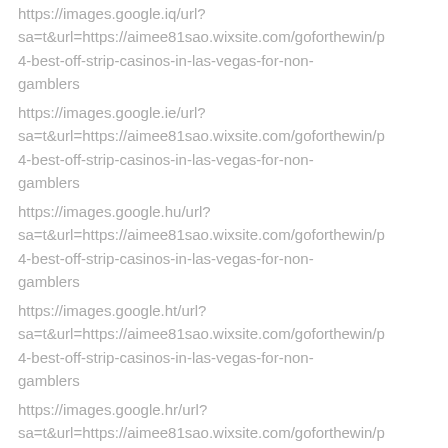https://images.google.iq/url?sa=t&url=https://aimee81sao.wixsite.com/goforthewin/p4-best-off-strip-casinos-in-las-vegas-for-non-gamblers
https://images.google.ie/url?sa=t&url=https://aimee81sao.wixsite.com/goforthewin/p4-best-off-strip-casinos-in-las-vegas-for-non-gamblers
https://images.google.hu/url?sa=t&url=https://aimee81sao.wixsite.com/goforthewin/p4-best-off-strip-casinos-in-las-vegas-for-non-gamblers
https://images.google.ht/url?sa=t&url=https://aimee81sao.wixsite.com/goforthewin/p4-best-off-strip-casinos-in-las-vegas-for-non-gamblers
https://images.google.hr/url?sa=t&url=https://aimee81sao.wixsite.com/goforthewin/p4-best-off-strip-casinos-in-las-vegas-for-non-gamblers